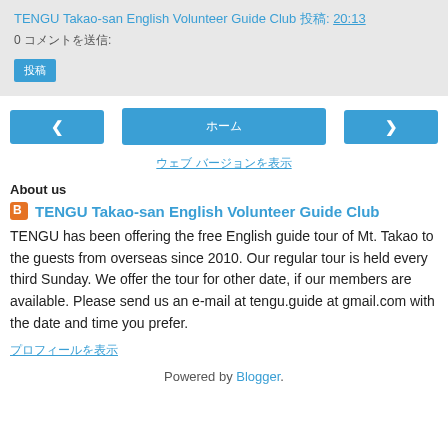TENGU Takao-san English Volunteer Guide Club 投稿: 20:13
0 コメントを送信:
投稿
‹ (nav left)
ホーム (nav center)
› (nav right)
ウェブ バージョンを表示
About us
TENGU Takao-san English Volunteer Guide Club
TENGU has been offering the free English guide tour of Mt. Takao to the guests from overseas since 2010. Our regular tour is held every third Sunday. We offer the tour for other date, if our members are available. Please send us an e-mail at tengu.guide at gmail.com with the date and time you prefer.
プロフィールを表示
Powered by Blogger.